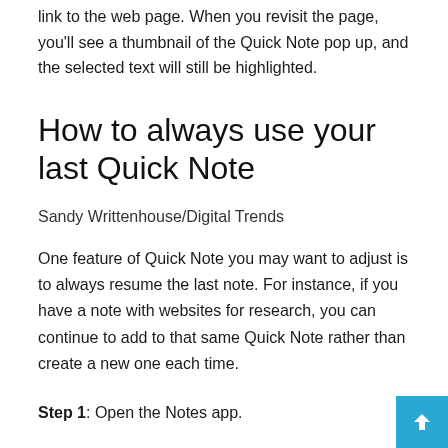link to the web page. When you revisit the page, you'll see a thumbnail of the Quick Note pop up, and the selected text will still be highlighted.
How to always use your last Quick Note
Sandy Writtenhouse/Digital Trends
One feature of Quick Note you may want to adjust is to always resume the last note. For instance, if you have a note with websites for research, you can continue to add to that same Quick Note rather than create a new one each time.
Step 1: Open the Notes app.
Step 2: Click Notes > Preferences from the menu bar.